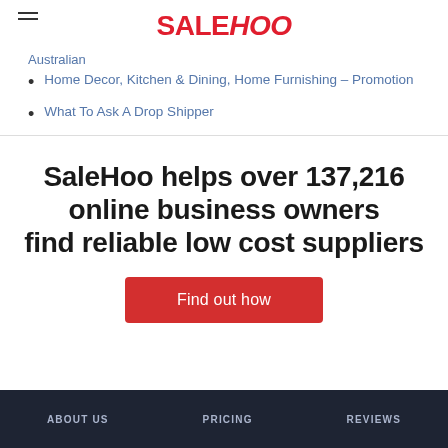SALEHOO
Australian
Home Decor, Kitchen & Dining, Home Furnishing – Promotion
What To Ask A Drop Shipper
SaleHoo helps over 137,216 online business owners find reliable low cost suppliers
Find out how
ABOUT US   PRICING   REVIEWS